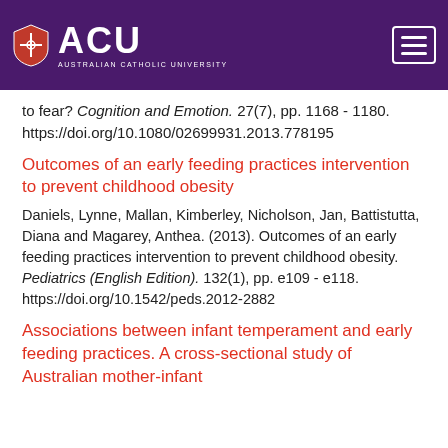[Figure (logo): Australian Catholic University (ACU) logo with shield and text on purple header background, with hamburger menu icon]
to fear? Cognition and Emotion. 27(7), pp. 1168 - 1180. https://doi.org/10.1080/02699931.2013.778195
Outcomes of an early feeding practices intervention to prevent childhood obesity
Daniels, Lynne, Mallan, Kimberley, Nicholson, Jan, Battistutta, Diana and Magarey, Anthea. (2013). Outcomes of an early feeding practices intervention to prevent childhood obesity. Pediatrics (English Edition). 132(1), pp. e109 - e118. https://doi.org/10.1542/peds.2012-2882
Associations between infant temperament and early feeding practices. A cross-sectional study of Australian mother-infant